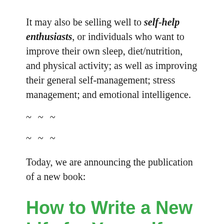It may also be selling well to self-help enthusiasts, or individuals who want to improve their own sleep, diet/nutrition, and physical activity; as well as improving their general self-management; stress management; and emotional intelligence.
~~~
~~~
Today, we are announcing the publication of a new book:
How to Write a New Life for Yourself: